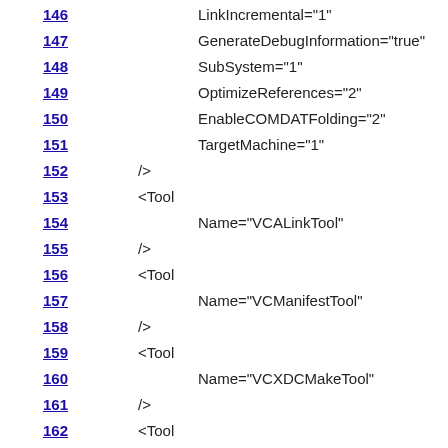146  LinkIncremental="1"
147      GenerateDebugInformation="true"
148      SubSystem="1"
149      OptimizeReferences="2"
150      EnableCOMDATFolding="2"
151      TargetMachine="1"
152  />
153  <Tool
154      Name="VCALinkTool"
155  />
156  <Tool
157      Name="VCManifestTool"
158  />
159  <Tool
160      Name="VCXDCMakeTool"
161  />
162  <Tool
163      Name="VCBscMakeTool"
164  />
165  <Tool
166      Name="VCFxCopTool"